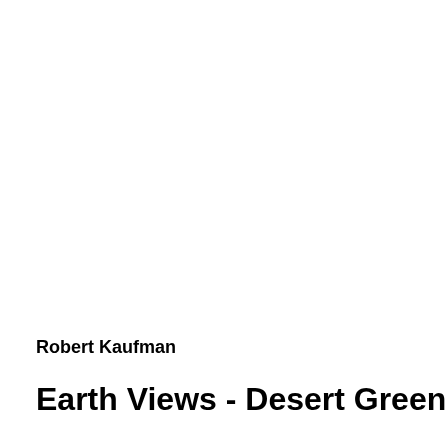Robert Kaufman
Earth Views - Desert Green